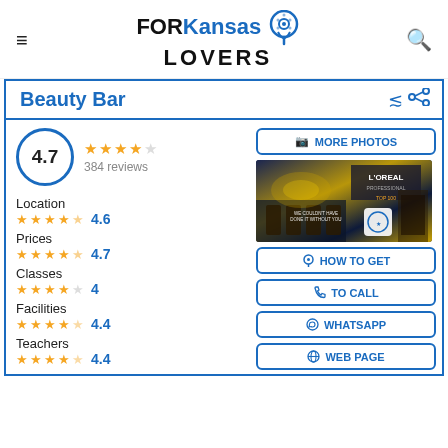FOR Kansas LOVERS
Beauty Bar
4.7 — 384 reviews
Location 4.6
Prices 4.7
Classes 4
Facilities 4.4
Teachers 4.4
[Figure (photo): Interior photo of Beauty Bar salon with L'Oreal branding and award badge]
MORE PHOTOS
HOW TO GET
TO CALL
WHATSAPP
WEB PAGE